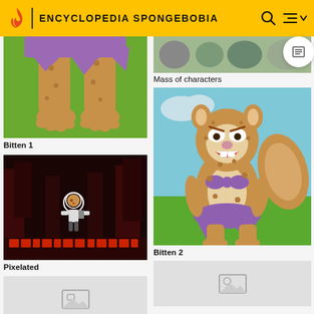ENCYCLOPEDIA SPONGEBOBIA
[Figure (photo): Sandy Cheeks legs with spots and purple skirt, cropped image from SpongeBob cartoon]
Bitten 1
Mass of characters
[Figure (photo): Sandy Cheeks full body with spots (Bitten 2), angry face, purple bow and skirt, from SpongeBob cartoon]
Bitten 2
[Figure (screenshot): Pixelated dark video game screenshot with a character in space suit running]
Pixelated
[Figure (photo): Placeholder image thumbnail (bottom left), gray background with image icon]
[Figure (photo): Placeholder image thumbnail (bottom right), gray background]